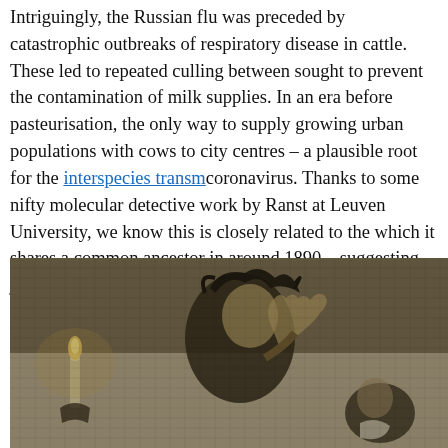Intriguingly, the Russian flu was preceded by catastrophic outbreaks of respiratory disease in cattle. These led to repeated culling between sought to prevent the contamination of milk supplies. In an era before pasteurisation, the only way to supply growing urban populations with milk was to keep cows to city centres – a plausible root for the interspecies transmission of a coronavirus. Thanks to some nifty molecular detective work by Marc Van Ranst at Leuven University, we know this is closely related to the virus with which it shares a common ancestor in around 1890 – suggesting the virus jumped from cattle to humans. The date coincides with the first
[Figure (illustration): A historical engraving or etching depicting a sickly or distressed figure, possibly ill, with disheveled hair and wild expression, reaching out a hand. A candle is visible on the left. Another figure appears on the lower right. Dark, dramatic style consistent with 19th century illustration.]